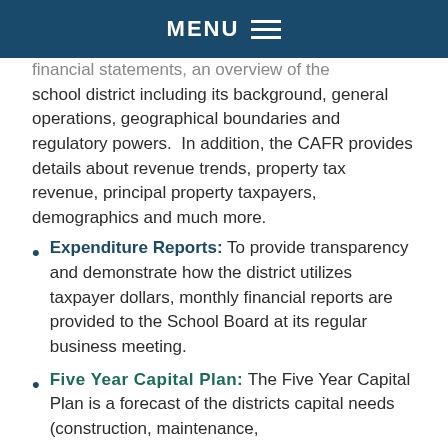MENU
financial statements, an overview of the school district including its background, general operations, geographical boundaries and regulatory powers.  In addition, the CAFR provides details about revenue trends, property tax revenue, principal property taxpayers, demographics and much more.
Expenditure Reports: To provide transparency and demonstrate how the district utilizes taxpayer dollars, monthly financial reports are provided to the School Board at its regular business meeting.
Five Year Capital Plan: The Five Year Capital Plan is a forecast of the districts capital needs (construction, maintenance,